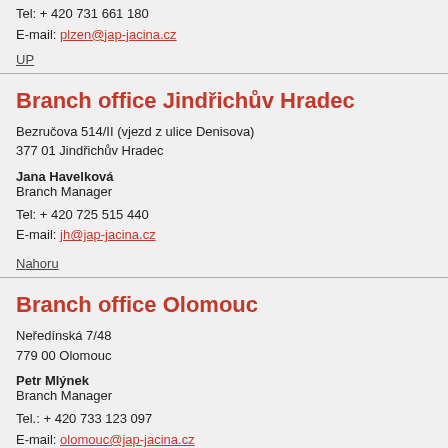Tel: + 420 731 661 180
E-mail: plzen@jap-jacina.cz
UP
Branch office Jindřichův Hradec
Bezručova 514/II (vjezd z ulice Denisova)
377 01 Jindřichův Hradec
Jana Havelková
Branch Manager
Tel: + 420 725 515 440
E-mail: jh@jap-jacina.cz
Nahoru
Branch office Olomouc
Neředínská 7/48
779 00 Olomouc
Petr Mlýnek
Branch Manager
Tel.: + 420 733 123 097
E-mail: olomouc@jap-jacina.cz
UP